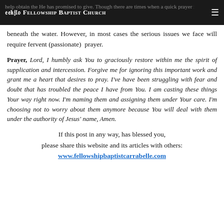Fellowship Baptist Church
beneath the water. However, in most cases the serious issues we face will require fervent (passionate) prayer.
Prayer, Lord, I humbly ask You to graciously restore within me the spirit of supplication and intercession. Forgive me for ignoring this important work and grant me a heart that desires to pray. I've have been struggling with fear and doubt that has troubled the peace I have from You. I am casting these things Your way right now. I'm naming them and assigning them under Your care. I'm choosing not to worry about them anymore because You will deal with them under the authority of Jesus' name, Amen.
If this post in any way, has blessed you, please share this website and its articles with others: www.fellowshipbaptistcarrabelle.com